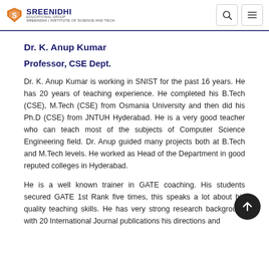SREENIDHI EDUCATIONAL GROUP | Search | Menu
Dr. K. Anup Kumar
Professor, CSE Dept.
Dr. K. Anup Kumar is working in SNIST for the past 16 years. He has 20 years of teaching experience. He completed his B.Tech (CSE), M.Tech (CSE) from Osmania University and then did his Ph.D (CSE) from JNTUH Hyderabad. He is a very good teacher who can teach most of the subjects of Computer Science Engineering field. Dr. Anup guided many projects both at B.Tech and M.Tech levels. He worked as Head of the Department in good reputed colleges in Hyderabad.
He is a well known trainer in GATE coaching. His students secured GATE 1st Rank five times, this speaks a lot about his quality teaching skills. He has very strong research background with 20 International Journal publications his directions and